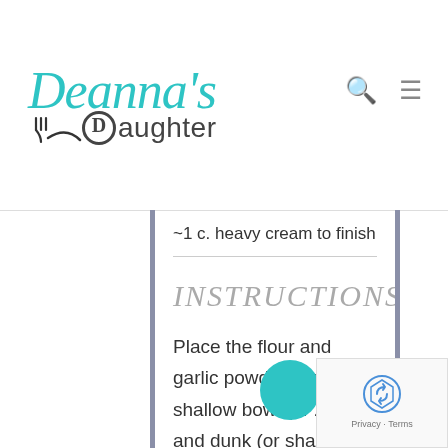Deanna's Daughter
~1 c. heavy cream to finish
INSTRUCTIONS
Place the flour and garlic powder in a shallow bowl (or Ziploc) and dunk (or shake) each piece of chicken in the mix. Heat up a bit of olive oil and butter in a large skillet over medium-high heat and brown the chicken in batches, generously sprinkling with salt and pepper as each piece cooks.  Each batch should take at least 5 minutes as you want the chicken